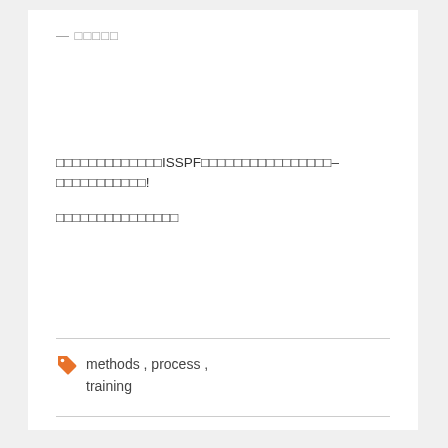— □□□□□
□□□□□□□□□□□□□ISSPF□□□□□□□□□□□□□□□□–□□□□□□□□□□□!
□□□□□□□□□□□□□□□
methods , process , training